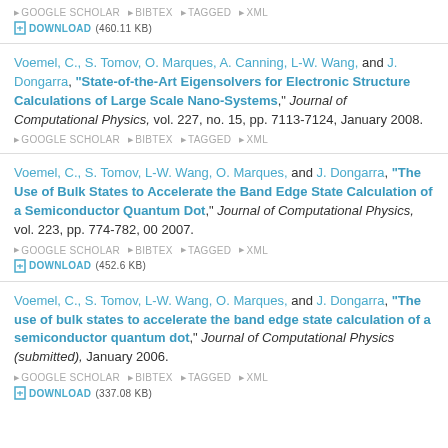DOWNLOAD (460.11 KB)
Voemel, C., S. Tomov, O. Marques, A. Canning, L-W. Wang, and J. Dongarra, "State-of-the-Art Eigensolvers for Electronic Structure Calculations of Large Scale Nano-Systems," Journal of Computational Physics, vol. 227, no. 15, pp. 7113-7124, January 2008.
GOOGLE SCHOLAR BIBTEX TAGGED XML
Voemel, C., S. Tomov, L-W. Wang, O. Marques, and J. Dongarra, "The Use of Bulk States to Accelerate the Band Edge State Calculation of a Semiconductor Quantum Dot," Journal of Computational Physics, vol. 223, pp. 774-782, 00 2007.
GOOGLE SCHOLAR BIBTEX TAGGED XML
DOWNLOAD (452.6 KB)
Voemel, C., S. Tomov, L-W. Wang, O. Marques, and J. Dongarra, "The use of bulk states to accelerate the band edge state calculation of a semiconductor quantum dot," Journal of Computational Physics (submitted), January 2006.
GOOGLE SCHOLAR BIBTEX TAGGED XML
DOWNLOAD (337.08 KB)